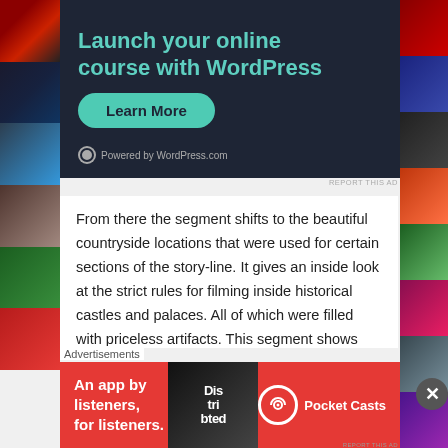[Figure (screenshot): WordPress advertisement banner with dark background (#1e2535), teal headline 'Launch your online course with WordPress', green 'Learn More' button, and 'Powered by WordPress.com' text with logo]
REPORT THIS AD
From there the segment shifts to the beautiful countryside locations that were used for certain sections of the story-line. It gives an inside look at the strict rules for filming inside historical castles and palaces. All of which were filled with priceless artifacts. This segment shows how much effort the crew had to take to ensure their filming didn't leave a single footprint. It was informative in giving a deeper look at some of the
Advertisements
[Figure (screenshot): Pocket Casts advertisement banner with red background, white text 'An app by listeners, for listeners.' and Pocket Casts logo on the right, podcast phone image in center]
REPORT THIS AD